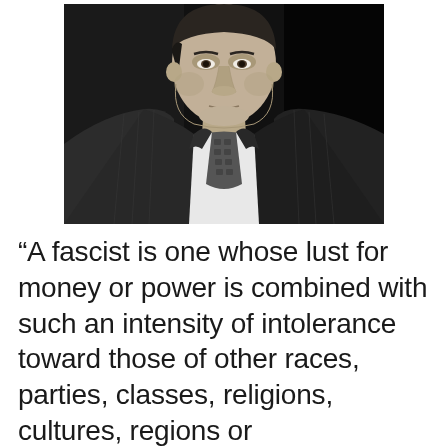[Figure (photo): Black and white portrait photograph of a man in a dark pinstripe suit and patterned tie, cropped from chest up, facing slightly left.]
“A fascist is one whose lust for money or power is combined with such an intensity of intolerance toward those of other races, parties, classes, religions, cultures, regions or